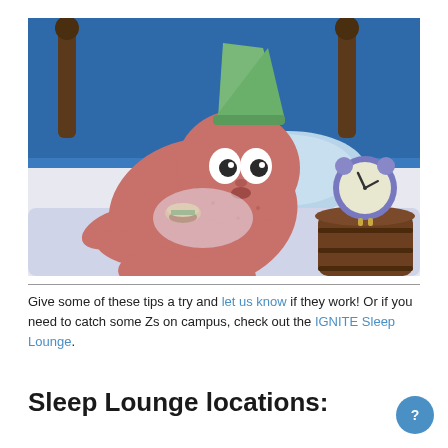[Figure (illustration): Cartoon image of Patrick Star from SpongeBob SquarePants lying in bed wearing a nightcap, eating a burger, with an alarm clock on a nightstand beside him. Blue underwater background.]
Give some of these tips a try and let us know if they work! Or if you need to catch some Zs on campus, check out the IGNITE Sleep Lounge.
Sleep Lounge locations: